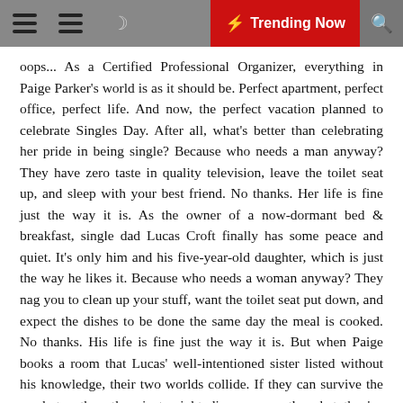☰ ☰  ☾  ⚡ Trending Now  🔍
oops... As a Certified Professional Organizer, everything in Paige Parker's world is as it should be. Perfect apartment, perfect office, perfect life. And now, the perfect vacation planned to celebrate Singles Day. After all, what's better than celebrating her pride in being single? Because who needs a man anyway? They have zero taste in quality television, leave the toilet seat up, and sleep with your best friend. No thanks. Her life is fine just the way it is. As the owner of a now-dormant bed & breakfast, single dad Lucas Croft finally has some peace and quiet. It's only him and his five-year-old daughter, which is just the way he likes it. Because who needs a woman anyway? They nag you to clean up your stuff, want the toilet seat put down, and expect the dishes to be done the same day the meal is cooked. No thanks. His life is fine just the way it is. But when Paige books a room that Lucas' well-intentioned sister listed without his knowledge, their two worlds collide. If they can survive the week together, they just might discover exactly what they've both been missing. "Adorable, romantic, funny, and sexy!"—Kirkus Reviews for Black Tie Optional